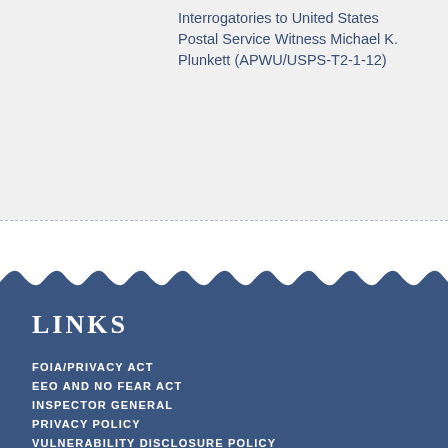Interrogatories to United States Postal Service Witness Michael K. Plunkett (APWU/USPS-T2-1-12)
LINKS
FOIA/PRIVACY ACT
EEO AND NO FEAR ACT
INSPECTOR GENERAL
PRIVACY POLICY
VULNERABILITY DISCLOSURE POLICY
IPV6 SUPPLEMENTAL POLICY
ACCESSIBILITY
SITEMAP
ABOUT THE PRC